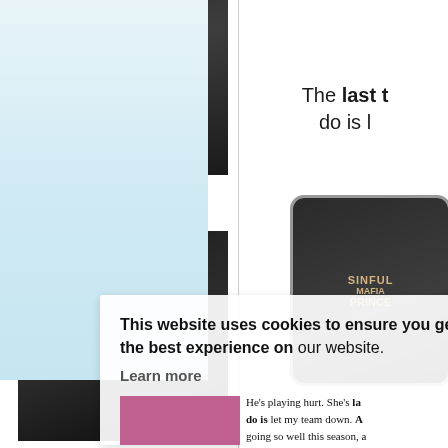[Figure (illustration): Book cover: RAYNE – A True Lover's Story by International Bestselling Author A.E. VIA, dark background with male figure]
COMING 08/29/22
[Figure (illustration): Book cover: THE MALVAGIO DUET – SINFUL MAFIA PRINCE, dark background with red rope]
The last t… do is l…
[Figure (screenshot): Phone mockup showing a book cover on a device screen]
This website uses cookies to ensure you get the best experience on our website. Learn more Got it!
He's playing hurt. She's la… do is let my team down. A… going so well this season, a… The only bright spot in m…